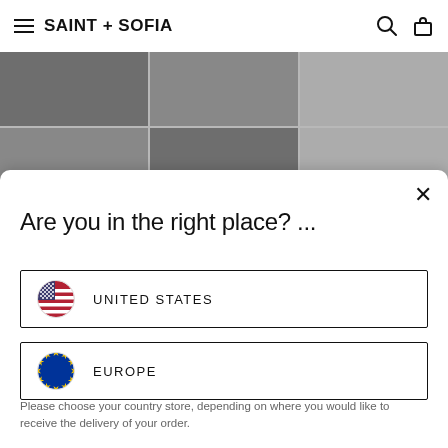SAINT + SOFIA
[Figure (photo): Fashion photo grid showing models in dark clothing, arranged in two rows of three images]
Are you in the right place? ...
UNITED STATES
EUROPE
Please choose your country store, depending on where you would like to receive the delivery of your order.